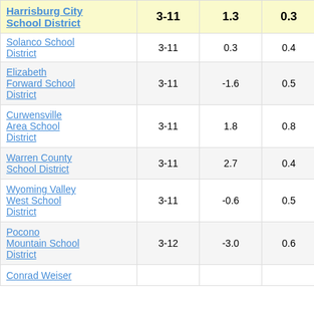| School District | Grades | Col3 | Col4 | Score |
| --- | --- | --- | --- | --- |
| Harrisburg City School District | 3-11 | 1.3 | 0.3 | 3.72 |
| Solanco School District | 3-11 | 0.3 | 0.4 | 0.81 |
| Elizabeth Forward School District | 3-11 | -1.6 | 0.5 | -3.31 |
| Curwensville Area School District | 3-11 | 1.8 | 0.8 | 2.29 |
| Warren County School District | 3-11 | 2.7 | 0.4 | 7.14 |
| Wyoming Valley West School District | 3-11 | -0.6 | 0.5 | -1.38 |
| Pocono Mountain School District | 3-12 | -3.0 | 0.6 | -5.22 |
| Conrad Weiser |  |  |  |  |